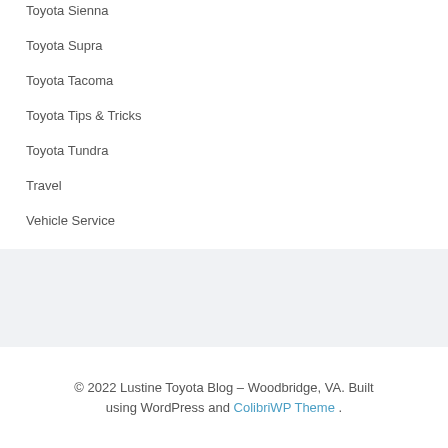Toyota Sienna
Toyota Supra
Toyota Tacoma
Toyota Tips & Tricks
Toyota Tundra
Travel
Vehicle Service
© 2022 Lustine Toyota Blog – Woodbridge, VA. Built using WordPress and ColibriWP Theme .